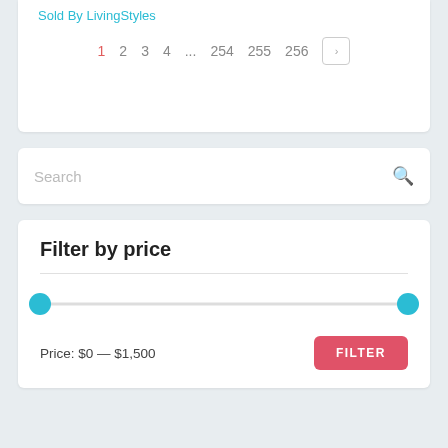Sold By LivingStyles
1 2 3 4 ... 254 255 256 >
Search
Filter by price
Price: $0 — $1,500
FILTER